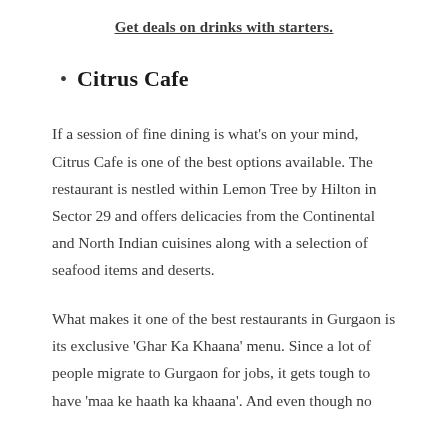Get deals on drinks with starters.
Citrus Cafe
If a session of fine dining is what’s on your mind, Citrus Cafe is one of the best options available. The restaurant is nestled within Lemon Tree by Hilton in Sector 29 and offers delicacies from the Continental and North Indian cuisines along with a selection of seafood items and deserts.
What makes it one of the best restaurants in Gurgaon is its exclusive ‘Ghar Ka Khaana’ menu. Since a lot of people migrate to Gurgaon for jobs, it gets tough to have ‘maa ke haath ka khaana’. And even though no one has proven yet that Citrus Cafe’s Ghar K...